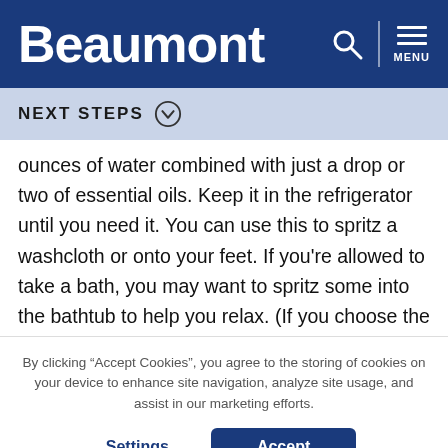Beaumont
NEXT STEPS
ounces of water combined with just a drop or two of essential oils. Keep it in the refrigerator until you need it. You can use this to spritz a washcloth or onto your feet. If you're allowed to take a bath, you may want to spritz some into the bathtub to help you relax. (If you choose the spritz bottle, the scent may linger longer than you want it to.)
By clicking “Accept Cookies”, you agree to the storing of cookies on your device to enhance site navigation, analyze site usage, and assist in our marketing efforts.
Settings | Accept